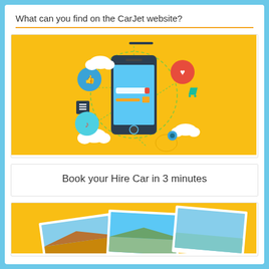What can you find on the CarJet website?
[Figure (illustration): Yellow background illustration of a smartphone with social media and app icons floating around it, including clouds, a heart, a shopping cart, a music note, and a search bar. Depicts a mobile booking concept.]
Book your Hire Car in 3 minutes
[Figure (photo): Yellow background with overlapping photographs of scenic travel destinations including mountains and coastal/beach views.]